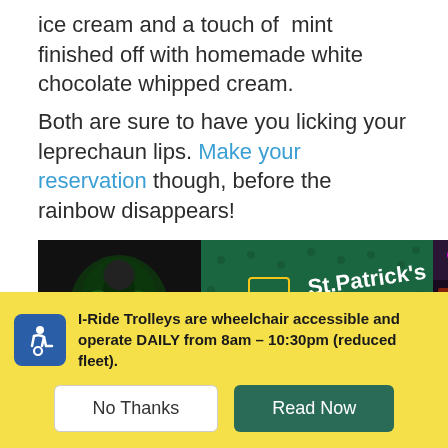ice cream and a touch of mint finished off with homemade white chocolate whipped cream.
Both are sure to have you licking your leprechaun lips. Make your reservation though, before the rainbow disappears!
[Figure (photo): Three photos side by side: left shows a performer in green light, center shows a St. Patrick's Day logo with a leprechaun, right shows a crowded bar with colorful lights.]
Credit: TinRoofOrlandoFacebook
I-Ride Trolleys are wheelchair accessible and operate DAILY from 8am – 10:30pm (reduced fleet).
No Thanks
Read Now